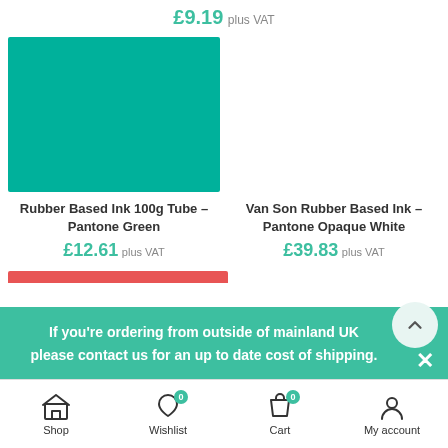£9.19 plus VAT
[Figure (photo): Solid teal/green square product image for Rubber Based Ink 100g Tube – Pantone Green]
Rubber Based Ink 100g Tube – Pantone Green
£12.61 plus VAT
Van Son Rubber Based Ink – Pantone Opaque White
£39.83 plus VAT
If you're ordering from outside of mainland UK please contact us for an up to date cost of shipping.
Shop  Wishlist  Cart  My account